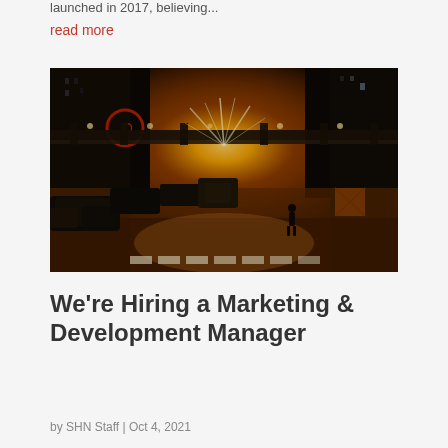launched in 2017, believing...
read more
[Figure (photo): City street at sunset with golden sunburst light between tall buildings, elevated train tracks overhead, cars parked on left, urban intersection with crosswalk in foreground]
We're Hiring a Marketing & Development Manager
by SHN Staff | Oct 4, 2021